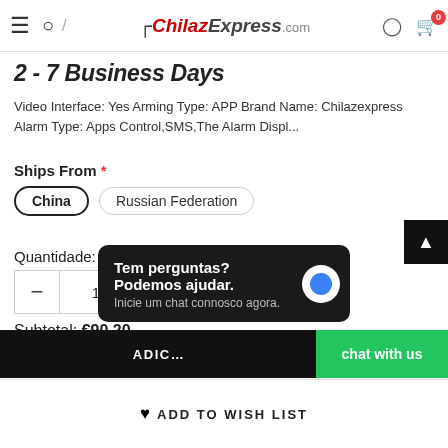ChilazExpress.com — navigation bar with hamburger, search, logo, user icon, cart (0)
2 - 7 Business Days
Video Interface: Yes Arming Type: APP Brand Name: Chilazexpress Alarm Type: Apps Control,SMS,The Alarm Displ...
Ships From *
China | Russian Federation
Quantidade:
1
Subtotal:  €90.20
ADIC... RAS
Tem perguntas? Podemos ajudar. Inicie um chat connosco agora.
Chat with us
ADD TO WISH LIST